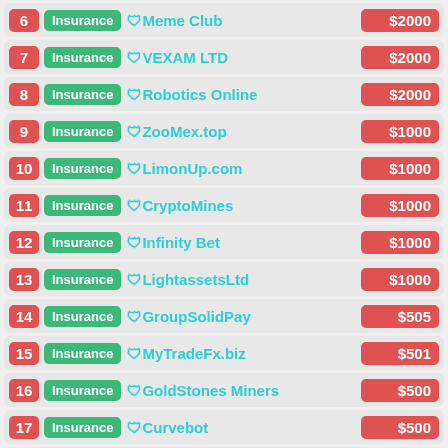6 Insurance 🛡Meme Club $2000
7 Insurance 🛡VEXAM LTD $2000
8 Insurance 🛡Robotics Online $2000
9 Insurance 🛡ZooMex.top $1000
10 Insurance 🛡LimonUp.com $1000
11 Insurance 🛡CryptoMines $1000
12 Insurance 🛡Infinity Bet $1000
13 Insurance 🛡LightassetsLtd $1000
14 Insurance 🛡GroupSolidPay $505
15 Insurance 🛡MyTradeFx.biz $501
16 Insurance 🛡GoldStones Miners $500
17 Insurance 🛡Curvebot $500
18 Insurance 🛡CRYPTOFINANCE $500
19 Insurance 🛡TheMetaBiz.io $500
20 Insurance 🛡StartupHourly.com $500